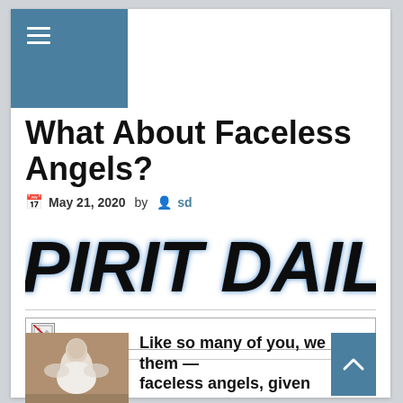[Figure (screenshot): Navigation hamburger menu icon on teal/blue background]
What About Faceless Angels?
May 21, 2020  by  sd
[Figure (logo): SPIRIT DAILY logo in bold italic black text with blue shadow effect]
[Figure (photo): Broken/missing image placeholder box]
[Figure (photo): Photo of a faceless angel figurine]
Like so many of you, we have them — faceless angels, given